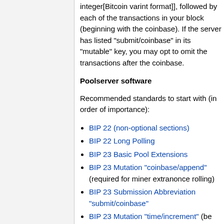integer[Bitcoin varint format]], followed by each of the transactions in your block (beginning with the coinbase). If the server has listed "submit/coinbase" in its "mutable" key, you may opt to omit the transactions after the coinbase.
Poolserver software
Recommended standards to start with (in order of importance):
BIP 22 (non-optional sections)
BIP 22 Long Polling
BIP 23 Basic Pool Extensions
BIP 23 Mutation "coinbase/append" (required for miner extranonce rolling)
BIP 23 Submission Abbreviation "submit/coinbase"
BIP 23 Mutation "time/increment" (be sure to specify "maxtime" or